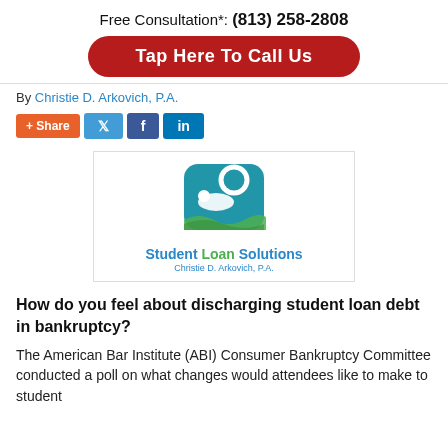Free Consultation*: (813) 258-2808
Tap Here To Call Us
By Christie D. Arkovich, P.A.
[Figure (logo): Student Loan Solutions - Christie D. Arkovich, P.A. logo with life preserver and swimmer graphic]
How do you feel about discharging student loan debt in bankruptcy?
The American Bar Institute (ABI) Consumer Bankruptcy Committee conducted a poll on what changes would attendees like to make to student